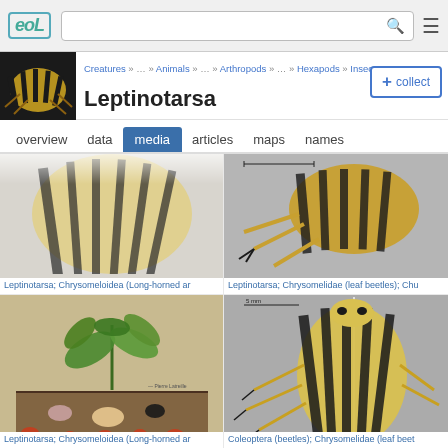eol — Encyclopedia of Life — Leptinotarsa media page
Creatures » … » Animals » … » Arthropods » … » Hexapods » Insects
Leptinotarsa
+ collect
overview  data  media  articles  maps  names
Leptinotarsa; Chrysomeloidea (Long-horned ar
Leptinotarsa; Chrysomelidae (leaf beetles); Chu
[Figure (photo): Botanical illustration showing potato plant with larvae life cycle stages of Leptinotarsa decemlineata (Colorado potato beetle)]
Leptinotarsa; Chrysomeloidea (Long-horned ar
[Figure (photo): Pinned museum specimen of Leptinotarsa decemlineata (Colorado potato beetle) showing distinctive yellow and black striped elytra, side view]
Coleoptera (beetles); Chrysomelidae (leaf beet